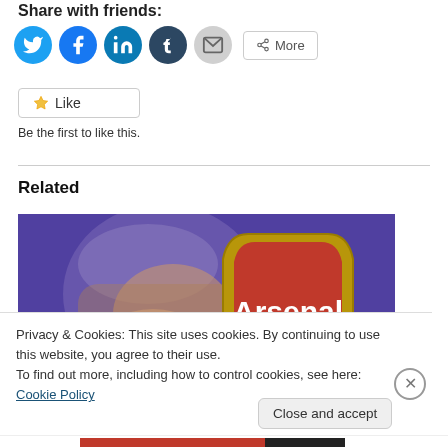Share with friends:
[Figure (infographic): Row of social sharing icon buttons: Twitter (blue), Facebook (blue), LinkedIn (teal), Tumblr (dark), Email (grey), and a More button]
[Figure (infographic): Like button with star icon and 'Be the first to like this.' text below]
Related
[Figure (photo): Photo showing a man with grey hair and the Arsenal football club logo/crest in red and gold on a purple background]
Privacy & Cookies: This site uses cookies. By continuing to use this website, you agree to their use.
To find out more, including how to control cookies, see here: Cookie Policy
Close and accept